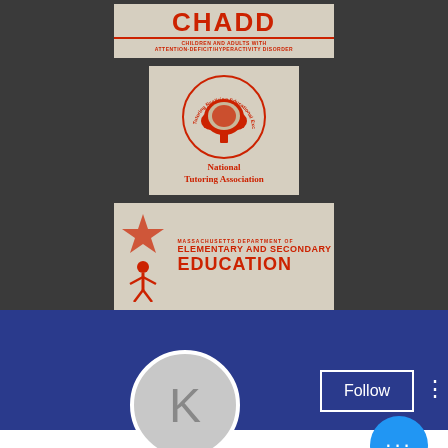[Figure (logo): CHADD logo - Children and Adults with Attention-Deficit/Hyperactivity Disorder]
[Figure (logo): National Tutoring Association logo with tree inside circle]
[Figure (logo): Massachusetts Department of Elementary and Secondary Education logo]
[Figure (screenshot): Social media profile page with Follow button, avatar with letter K, and profile name 'Kein einzahlungsbonus co...']
Kein einzahlungsbonus co
0 Followers • 0 Following